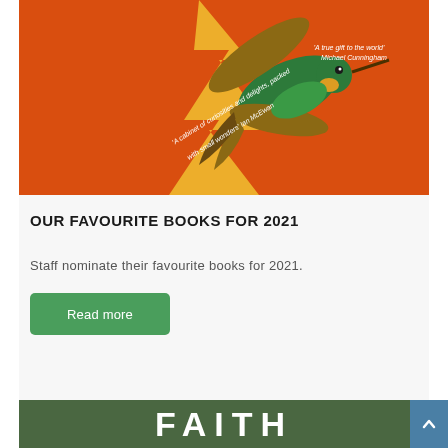[Figure (illustration): Book cover with orange/red background featuring a hummingbird illustration with text quotes from Michael Cunningham and Ian McEwan]
OUR FAVOURITE BOOKS FOR 2021
Staff nominate their favourite books for 2021.
Read more
[Figure (illustration): Partial book cover with dark green background showing large white text 'FAITH']